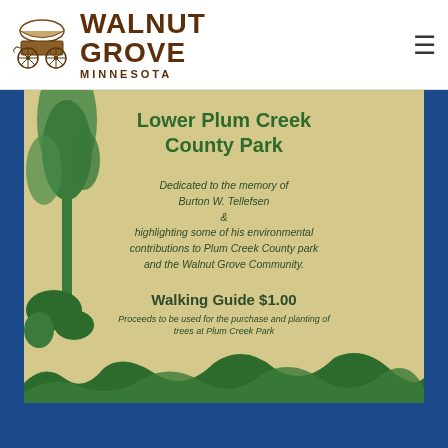[Figure (logo): Walnut Grove Minnesota logo with covered wagon illustration and text]
[Figure (photo): Lower Plum Creek County Park walking guide cover showing green tree silhouettes on tan/beige background with park dedication text]
Lower Plum Creek County Park
Dedicated to the memory of Burton W. Tellefsen & highlighting some of his environmental contributions to Plum Creek County park and the Walnut Grove Community.
Walking Guide $1.00
Proceeds to be used for the purchase and planting of trees at Plum Creek Park